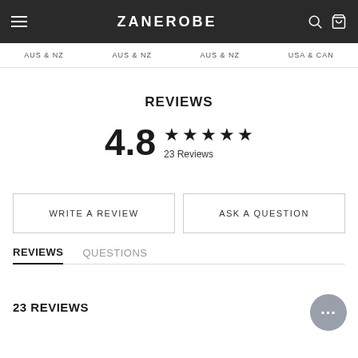ZANEROBE
AUS & NZ   AUS & NZ   AUS & NZ   USA & CAN
REVIEWS
4.8 ★★★★★ 23 Reviews
WRITE A REVIEW
ASK A QUESTION
REVIEWS   QUESTIONS
23 REVIEWS